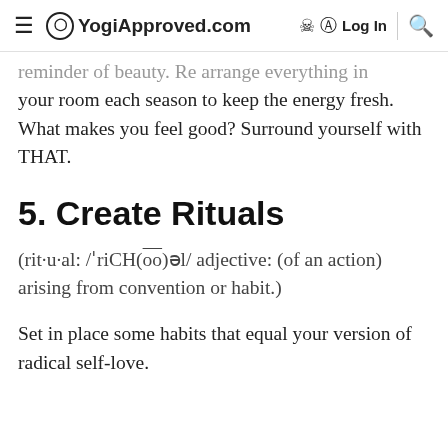YogiApproved.com  Log In
reminder of beauty. Re arrange everything in your room each season to keep the energy fresh. What makes you feel good? Surround yourself with THAT.
5. Create Rituals
(rit·u·al: /ˈriCH(oo)əl/ adjective: (of an action) arising from convention or habit.)
Set in place some habits that equal your version of radical self-love.